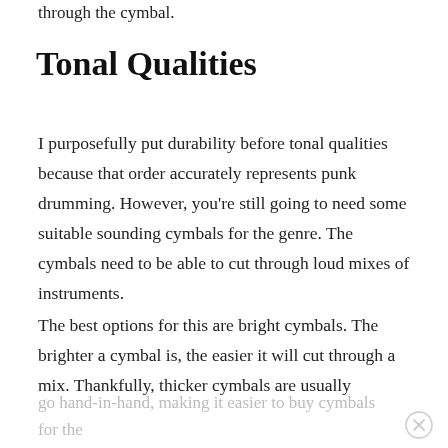through the cymbal.
Tonal Qualities
I purposefully put durability before tonal qualities because that order accurately represents punk drumming. However, you’re still going to need some suitable sounding cymbals for the genre. The cymbals need to be able to cut through loud mixes of instruments.
The best options for this are bright cymbals. The brighter a cymbal is, the easier it will cut through a mix. Thankfully, thicker cymbals are usually brighter. These two qualities
go hand-in-hand, making it easier to buy cymbals for the